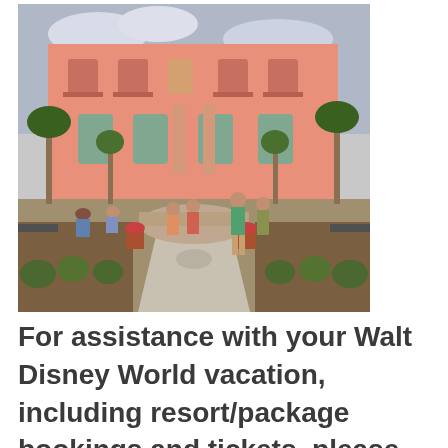[Figure (photo): Outdoor courtyard of a pink Mediterranean-style resort building with palm trees, landscaped gardens, shrubs, and families walking and sitting on benches along a pathway.]
For assistance with your Walt Disney World vacation, including resort/package bookings and tickets, please call () For Walt Disney World